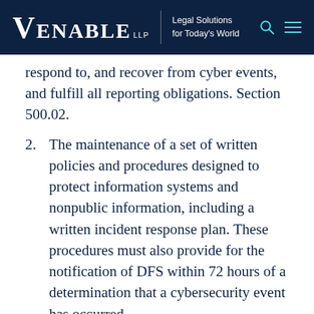VENABLE LLP | Legal Solutions for Today's World
respond to, and recover from cyber events, and fulfill all reporting obligations. Section 500.02.
2. The maintenance of a set of written policies and procedures designed to protect information systems and nonpublic information, including a written incident response plan. These procedures must also provide for the notification of DFS within 72 hours of a determination that a cybersecurity event has occurred.